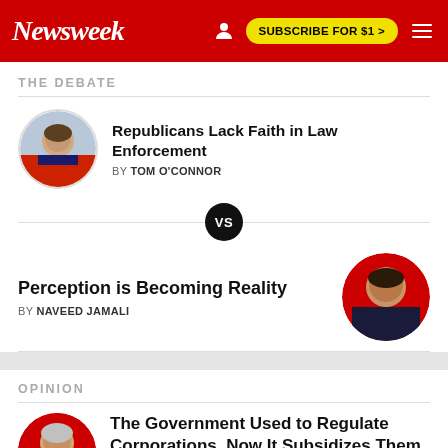Newsweek | SUBSCRIBE FOR $1 >
THE DEBATE
Republicans Lack Faith in Law Enforcement
BY TOM O'CONNOR
VS
Perception is Becoming Reality
BY NAVEED JAMALI
OPINION
The Government Used to Regulate Corporations. Now It Subsidizes Them